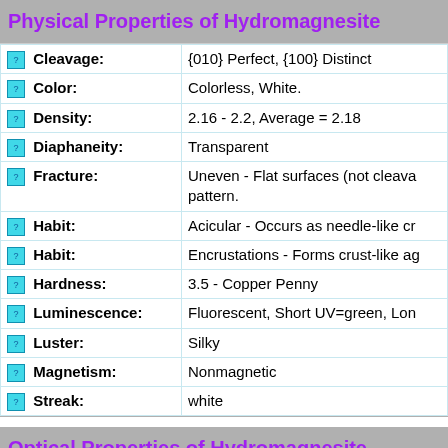Physical Properties of Hydromagnesite
| Property | Value |
| --- | --- |
| Cleavage: | {010} Perfect, {100} Distinct |
| Color: | Colorless, White. |
| Density: | 2.16 - 2.2, Average = 2.18 |
| Diaphaneity: | Transparent |
| Fracture: | Uneven - Flat surfaces (not cleava... pattern. |
| Habit: | Acicular - Occurs as needle-like cr... |
| Habit: | Encrustations - Forms crust-like ag... |
| Hardness: | 3.5 - Copper Penny |
| Luminescence: | Fluorescent, Short UV=green, Lon... |
| Luster: | Silky |
| Magnetism: | Nonmagnetic |
| Streak: | white |
Optical Properties of Hydromagnesite
| Property | Value |
| --- | --- |
| Gladstone-Dale: | CI meas= -0.055 (Good) - where th... CI calc= -0.022 (Excellent) - where... KPDcalc= 0.2363,KPDmeas= 0.2439,K... Ncalc = 1.5 - 1.52 |